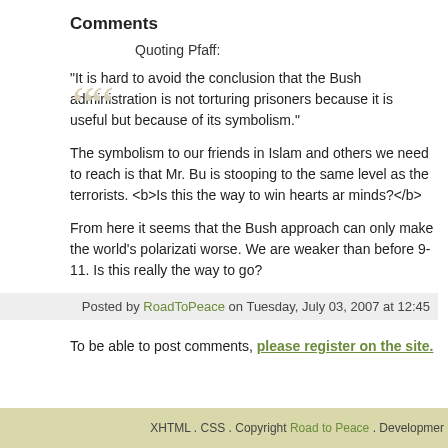Comments
Quoting Pfaff:
"It is hard to avoid the conclusion that the Bush administration is not torturing prisoners because it is useful but because of its symbolism."
The symbolism to our friends in Islam and others we need to reach is that Mr. Bu is stooping to the same level as the terrorists. <b>Is this the way to win hearts ar minds?</b>
From here it seems that the Bush approach can only make the world's polarizati worse. We are weaker than before 9-11. Is this really the way to go?
Posted by RoadToPeace on Tuesday, July 03, 2007 at 12:45
To be able to post comments, please register on the site.
XHTML . CSS . Copyright Road to Peace . Developmer